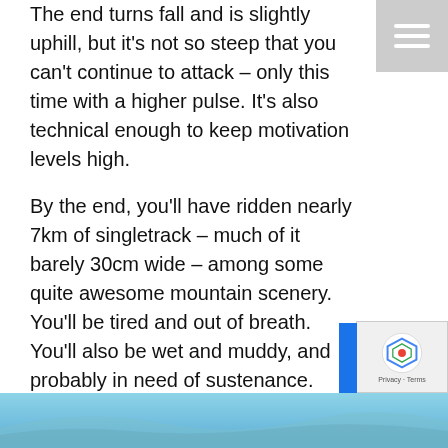The end turns fall and is slightly uphill, but it's not so steep that you can't continue to attack – only this time with a higher pulse. It's also technical enough to keep motivation levels high.
By the end, you'll have ridden nearly 7km of singletrack – much of it barely 30cm wide – among some quite awesome mountain scenery. You'll be tired and out of breath. You'll also be wet and muddy, and probably in need of sustenance.
You'll also have completely forgotten that push.
NOTE: We are planning to host a couple of guided trips to the Lakes this year to take in the amazing natural singletrack like Bowderdale. Please get in touch if you'd be interested in knowing more.
[Figure (photo): Blue sky and landscape photo strip at the bottom of the page]